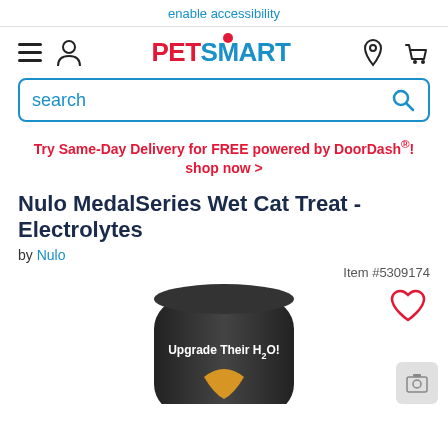enable accessibility
[Figure (logo): PetSmart logo with hamburger menu, user icon, location icon, and cart icon in navigation bar]
search
Try Same-Day Delivery for FREE powered by DoorDash®! shop now >
Nulo MedalSeries Wet Cat Treat - Electrolytes
by Nulo
Item #5309174
[Figure (photo): Black cylindrical product container with text 'Upgrade Their H2O!' and a heart logo, with a red heart wishlist icon in upper right]